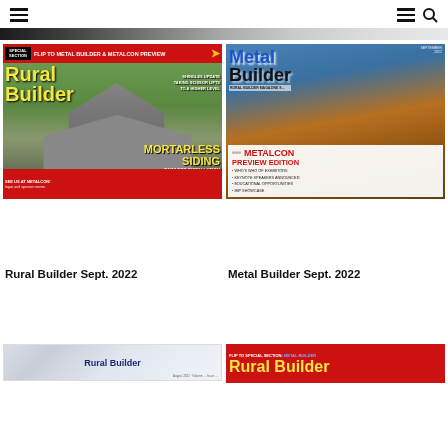Navigation header with hamburger menus and search icon
[Figure (photo): Rural Builder September 2022 magazine cover featuring a large stone house with metal roof, yellow title text, red top bar reading FLIP TO METAL BUILDER & METALCON PREVIEW, MORTARLESS SIDING, PAINLESS INSTALLATION]
[Figure (photo): Metal Builder September 2022 magazine cover featuring a modern metal building exterior, METALCON PREVIEW EDITION box with bullet points about exhibitors, speakers, educational opportunities, IMP showcase]
Rural Builder Sept. 2022
Metal Builder Sept. 2022
[Figure (photo): Rural Builder August 2022 magazine cover partial view]
[Figure (photo): Rural Builder magazine cover partial view with red banner reading FLIP TO SPECIAL SECTION: METAL BUILDER]